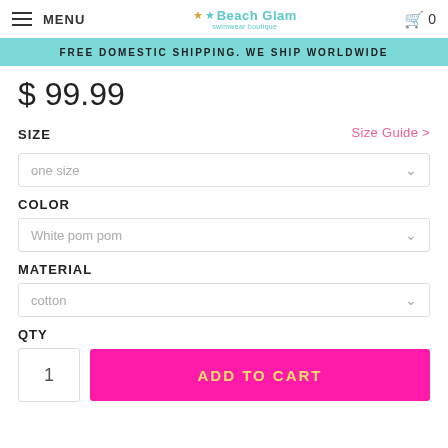MENU | Beach Glam | 0
FREE DOMESTIC SHIPPING. WE SHIP WORLDWIDE
$ 99.99
SIZE
Size Guide >
one size
COLOR
White pom pom
MATERIAL
cotton
QTY
1
ADD TO CART